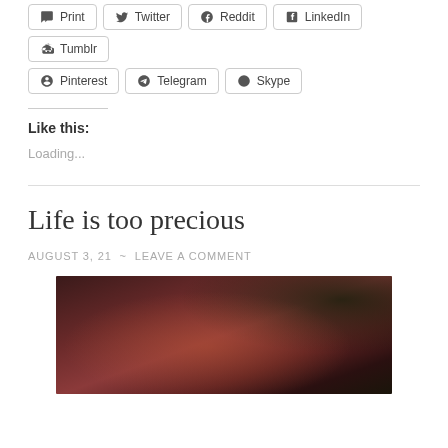Print
Twitter
Reddit
LinkedIn
Tumblr
Pinterest
Telegram
Skype
Like this:
Loading...
Life is too precious
AUGUST 3, 21  ~  LEAVE A COMMENT
[Figure (photo): Dark reddish-brown dramatic sky with clouds, dimly lit landscape scene]